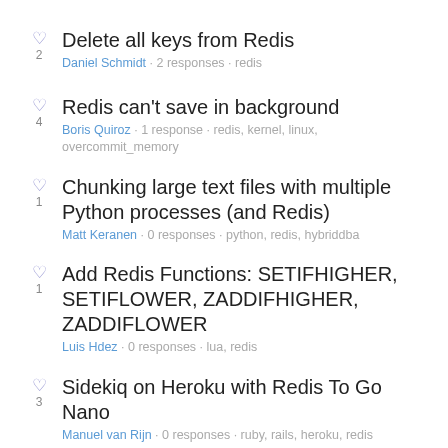Delete all keys from Redis
Daniel Schmidt · 2 responses · redis
Redis can't save in background
Boris Quiroz · 1 response · redis, kernel, linux, overcommit_memory
Chunking large text files with multiple Python processes (and Redis)
Matt Keranen · 0 responses · python, redis, hybriddba
Add Redis Functions: SETIFHIGHER, SETIFLOWER, ZADDIFHIGHER, ZADDIFLOWER
Luis Hdez · 0 responses · lua, redis
Sidekiq on Heroku with Redis To Go Nano
Manuel van Rijn · 0 responses · ruby, rails, heroku, redis